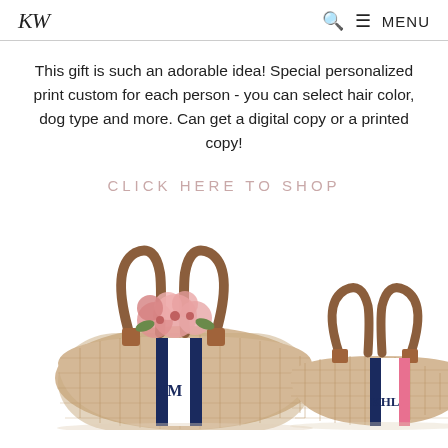KW | MENU
This gift is such an adorable idea! Special personalized print custom for each person - you can select hair color, dog type and more. Can get a digital copy or a printed copy!
CLICK HERE TO SHOP
[Figure (photo): Two woven straw tote bags with leather handles. The larger bag on the left has a navy and white stripe with initials 'NM' and contains pink flowers. The smaller bag on the right has a pink and navy stripe with initials 'KHL'.]